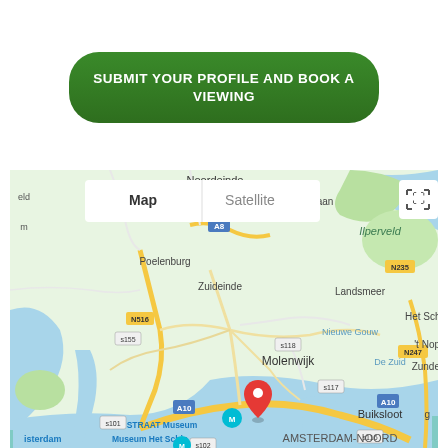SUBMIT YOUR PROFILE AND BOOK A VIEWING
[Figure (map): Google Maps view showing Amsterdam-Noord area with a red location pin near STRAAT Museum and Buiksloot, showing Map/Satellite toggle buttons, roads including A10, A8, N516, N247, N235, and landmarks including Molenwijk, Landsmeer, Poelenburg, Zuideinde, Oostzaan, Ilperveld, Nieuwe Gouw, Het Schouw, De Zuid, Museum Het Schip, AMSTERDAM-NOORD]